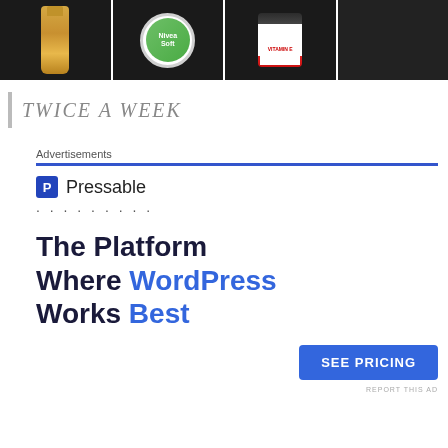[Figure (photo): Strip of product photos on dark background: gold tube cosmetic, Nivea Soft round tin, Vitamin E jar, partial fourth product]
TWICE A WEEK
Advertisements
[Figure (logo): Pressable logo: blue square with P icon followed by text 'Pressable']
· · · · · · · · ·
The Platform Where WordPress Works Best
SEE PRICING
REPORT THIS AD